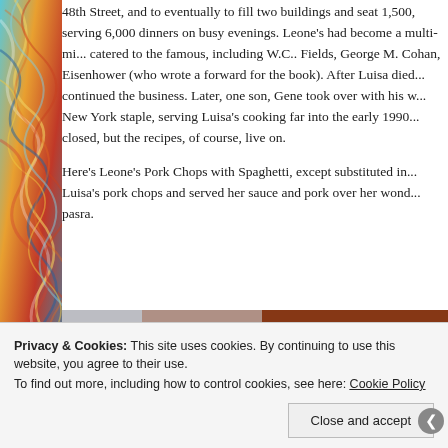[Figure (illustration): Colorful marbled decorative border on the left side of the page with swirling patterns in teal, orange, red, yellow, and blue]
48th Street, and to eventually to fill two buildings and seat 1,500, serving 6,000 dinners on busy evenings. Leone's had become a multi-mi... catered to the famous, including W.C.. Fields, George M. Cohan, Eisenhower (who wrote a forward for the book). After Luisa died... continued the business. Later, one son, Gene took over with his w... New York staple, serving Luisa's cooking far into the early 1990... closed, but the recipes, of course, live on.
Here's Leone's Pork Chops with Spaghetti, except substituted in... Luisa's pork chops and served her sauce and pork over her wond... pasra.
[Figure (photo): Close-up photo of cooked pork chops with red tomato sauce, showing browned meat with chunky tomato topping in a pan]
Privacy & Cookies: This site uses cookies. By continuing to use this website, you agree to their use.
To find out more, including how to control cookies, see here: Cookie Policy
Close and accept